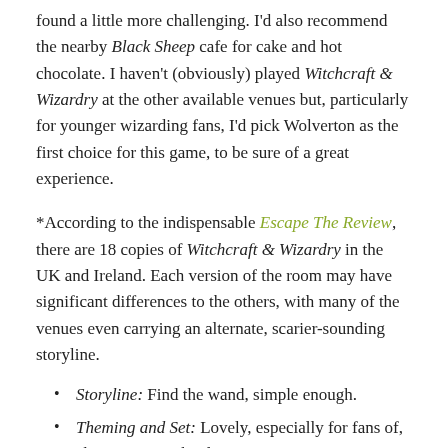found a little more challenging. I'd also recommend the nearby Black Sheep cafe for cake and hot chocolate. I haven't (obviously) played Witchcraft & Wizardry at the other available venues but, particularly for younger wizarding fans, I'd pick Wolverton as the first choice for this game, to be sure of a great experience.
*According to the indispensable Escape The Review, there are 18 copies of Witchcraft & Wizardry in the UK and Ireland. Each version of the room may have significant differences to the others, with many of the venues even carrying an alternate, scarier-sounding storyline.
Storyline: Find the wand, simple enough.
Theming and Set: Lovely, especially for fans of, ahem, magic schools .
Searching: A little bit, not enough to trip us up on one of